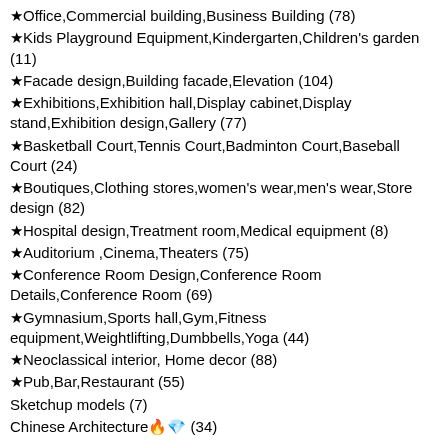★Office,Commercial building,Business Building (78)
★Kids Playground Equipment,Kindergarten,Children's garden (11)
★Facade design,Building facade,Elevation (104)
★Exhibitions,Exhibition hall,Display cabinet,Display stand,Exhibition design,Gallery (77)
★Basketball Court,Tennis Court,Badminton Court,Baseball Court (24)
★Boutiques,Clothing stores,women's wear,men's wear,Store design (82)
★Hospital design,Treatment room,Medical equipment (8)
★Auditorium ,Cinema,Theaters (75)
★Conference Room Design,Conference Room Details,Conference Room (69)
★Gymnasium,Sports hall,Gym,Fitness equipment,Weightlifting,Dumbbells,Yoga (44)
★Neoclassical interior, Home decor (88)
★Pub,Bar,Restaurant (55)
Sketchup models (7)
Chinese Architecture🔥💎 (34)